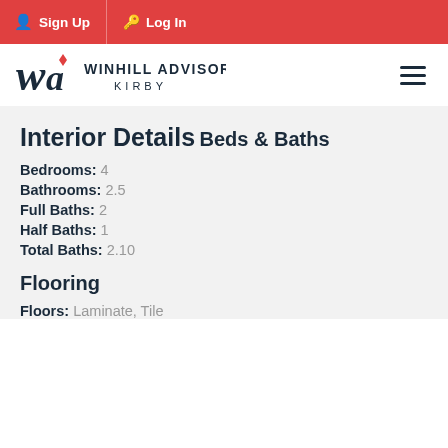Sign Up  Log In
[Figure (logo): Winhill Advisors Kirby logo with WA monogram and red diamond]
Interior Details
Beds & Baths
Bedrooms: 4
Bathrooms: 2.5
Full Baths: 2
Half Baths: 1
Total Baths: 2.10
Flooring
Floors: Laminate, Tile